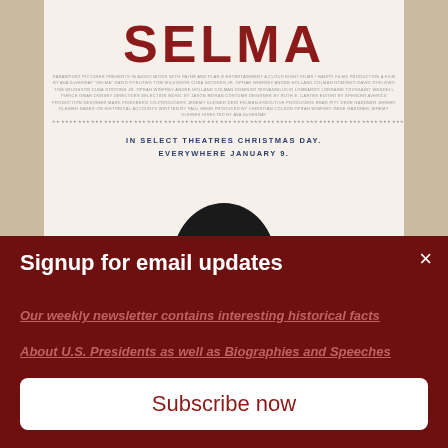[Figure (photo): Movie poster for SELMA showing the title in large red bold letters, small production credits text, release dates 'IN SELECT THEATRES CHRISTMAS DAY. EVERYWHERE JANUARY 9.' and a partial view of a person's head/silhouette at the bottom.]
Signup for email updates
×
Our weekly newsletter contains interesting historical facts
About U.S. Presidents as well as Biographies and Speeches
Non Official White House China
Subscribe now